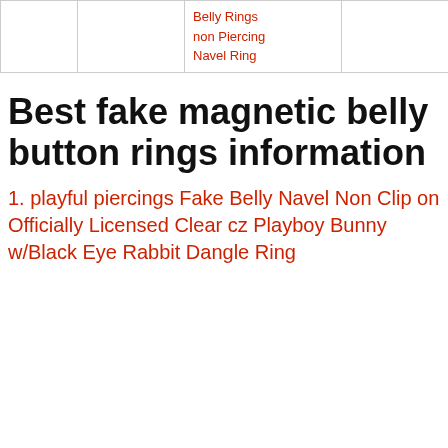|  |  | Belly Rings non Piercing Navel Ring |  |  |
| --- | --- | --- | --- | --- |
|  |  | Belly Rings
non Piercing
Navel Ring |  |  |
Best fake magnetic belly button rings information
1. playful piercings Fake Belly Navel Non Clip on Officially Licensed Clear cz Playboy Bunny w/Black Eye Rabbit Dangle Ring